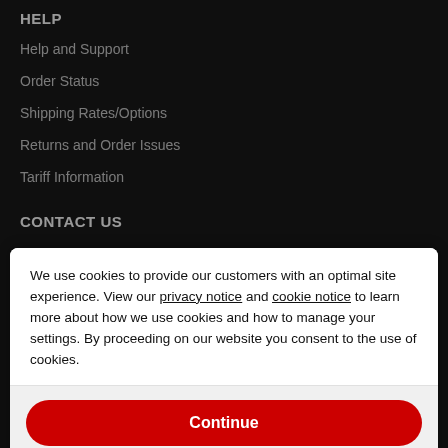HELP
Help and Support
Order Status
Shipping Rates/Options
Returns and Order Issues
Tariff Information
CONTACT US
We use cookies to provide our customers with an optimal site experience. View our privacy notice and cookie notice to learn more about how we use cookies and how to manage your settings. By proceeding on our website you consent to the use of cookies.
Continue
Exit
Privacy Notice
FOLLOW US